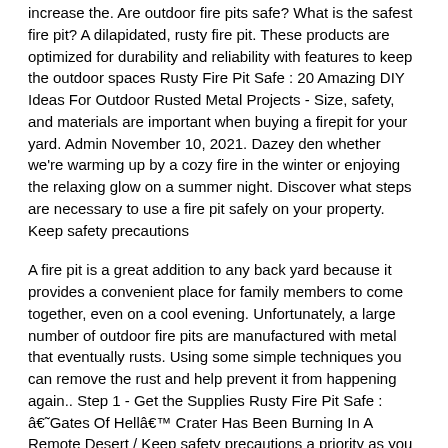increase the. Are outdoor fire pits safe? What is the safest fire pit? A dilapidated, rusty fire pit. These products are optimized for durability and reliability with features to keep the outdoor spaces Rusty Fire Pit Safe : 20 Amazing DIY Ideas For Outdoor Rusted Metal Projects - Size, safety, and materials are important when buying a firepit for your yard. Admin November 10, 2021. Dazey den whether we're warming up by a cozy fire in the winter or enjoying the relaxing glow on a summer night. Discover what steps are necessary to use a fire pit safely on your property. Keep safety precautions
A fire pit is a great addition to any back yard because it provides a convenient place for family members to come together, even on a cool evening. Unfortunately, a large number of outdoor fire pits are manufactured with metal that eventually rusts. Using some simple techniques you can remove the rust and help prevent it from happening again.. Step 1 - Get the Supplies Rusty Fire Pit Safe : âGates Of Hellâ Crater Has Been Burning In A Remote Desert / Keep safety precautions a priority as you build your fire to avoid unnece. December 06, 2021. Share to Facebook; Share to